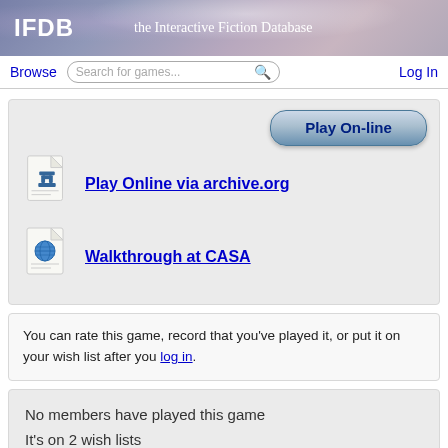IFDB — the Interactive Fiction Database
Browse | Search for games... | Log In
[Figure (screenshot): Play On-line button]
Play Online via archive.org
Walkthrough at CASA
You can rate this game, record that you've played it, or put it on your wish list after you log in.
No members have played this game
It's on 2 wish lists
New member reviews
Updates to downloadable files